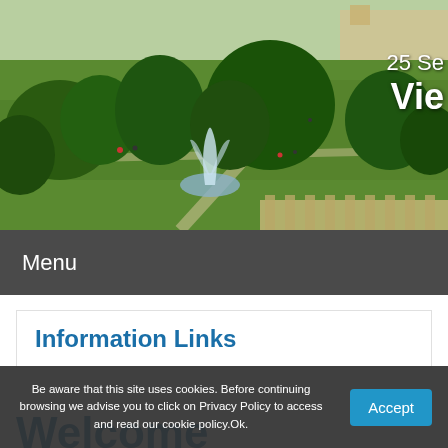[Figure (photo): Aerial or elevated view of a park with green lawns, large trees, a fountain in the center, pathways with people walking, and a classical building visible in the upper right background. Overlaid text shows '25 Se' (partial date) and 'Vie' (partial city name, likely Vienna).]
Menu
Information Links
Welcome
Be aware that this site uses cookies. Before continuing browsing we advise you to click on Privacy Policy to access and read our cookie policy.Ok.